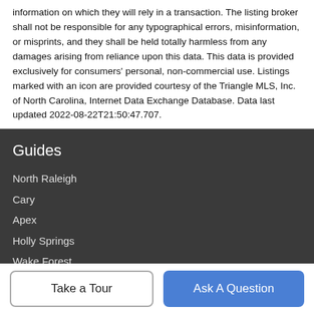information on which they will rely in a transaction. The listing broker shall not be responsible for any typographical errors, misinformation, or misprints, and they shall be held totally harmless from any damages arising from reliance upon this data. This data is provided exclusively for consumers' personal, non-commercial use. Listings marked with an icon are provided courtesy of the Triangle MLS, Inc. of North Carolina, Internet Data Exchange Database. Data last updated 2022-08-22T21:50:47.707.
Guides
North Raleigh
Cary
Apex
Holly Springs
Wake Forest
More Guides >